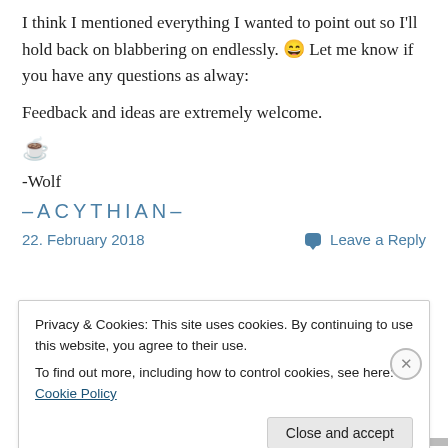I think I mentioned everything I wanted to point out so I'll hold back on blabbering on endlessly. 😄 Let me know if you have any questions as alway:
Feedback and ideas are extremely welcome.
[Figure (illustration): Coffee mug emoji]
-Wolf
–ACYTHIAN–
22. February 2018    Leave a Reply
Privacy & Cookies: This site uses cookies. By continuing to use this website, you agree to their use. To find out more, including how to control cookies, see here: Cookie Policy
Close and accept